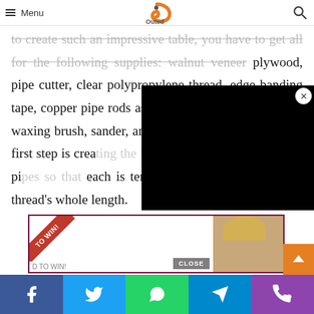Menu | Outed logo | Search
to create such an impressive table, you have to get all for the following supplies: walnut veneer plywood, pipe cutter, clear polypropylene thread, edge banding tape, copper pipe rods as well as hangers, crème wax, waxing brush, sander, and finally, lint-free cloths. The first step is creating the list will need to cut the copper pi each is ten inches long, the thread's whole length.
[Figure (other): Black video player overlay in top right]
[Figure (other): Advertisement banner with red ribbon 'TO WIN!' and person photo, CLOSE button]
Social share bar: Facebook, Twitter, WhatsApp, Telegram, Phone